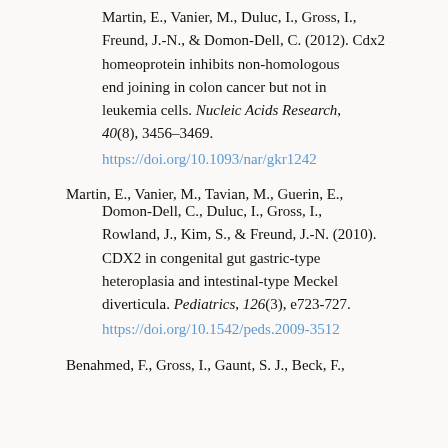Martin, E., Vanier, M., Duluc, I., Gross, I., Freund, J.-N., & Domon-Dell, C. (2012). Cdx2 homeoprotein inhibits non-homologous end joining in colon cancer but not in leukemia cells. Nucleic Acids Research, 40(8), 3456–3469. https://doi.org/10.1093/nar/gkr1242
Martin, E., Vanier, M., Tavian, M., Guerin, E., Domon-Dell, C., Duluc, I., Gross, I., Rowland, J., Kim, S., & Freund, J.-N. (2010). CDX2 in congenital gut gastric-type heteroplasia and intestinal-type Meckel diverticula. Pediatrics, 126(3), e723-727. https://doi.org/10.1542/peds.2009-3512
Benahmed, F., Gross, I., Gaunt, S. J., Beck, F., ...